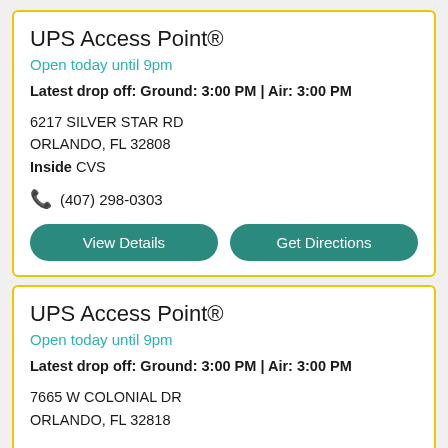UPS Access Point®
Open today until 9pm
Latest drop off: Ground: 3:00 PM | Air: 3:00 PM
6217 SILVER STAR RD
ORLANDO, FL 32808
Inside CVS
(407) 298-0303
View Details
Get Directions
UPS Access Point®
Open today until 9pm
Latest drop off: Ground: 3:00 PM | Air: 3:00 PM
7665 W COLONIAL DR
ORLANDO, FL 32818